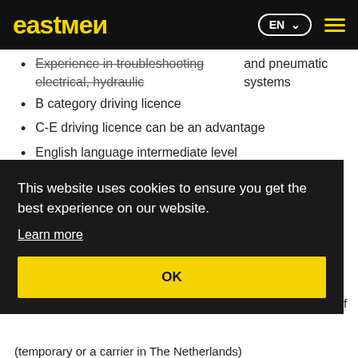eastmen | EN
Experience in troubleshooting electrical, hydraulic and pneumatic systems
B category driving licence
C-E driving licence can be an advantage
English language intermediate level
EU citizenship required
Our offer:
This website uses cookies to ensure you get the best experience on our website. Learn more | OK
(temporary or a carrier in The Netherlands)